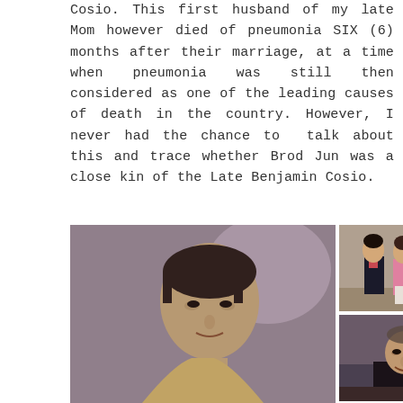Cosio. This first husband of my late Mom however died of pneumonia SIX (6) months after their marriage, at a time when pneumonia was still then considered as one of the leading causes of death in the country. However, I never had the chance to talk about this and trace whether Brod Jun was a close kin of the Late Benjamin Cosio.
[Figure (photo): Three photographs: a large vintage portrait photo of a young Filipino man on the left; top right shows two women posing together, one in pink blouse and one in pink floral top, near a Christmas tree; bottom right shows an older Filipino man in a black clerical or formal outfit, smiling.]